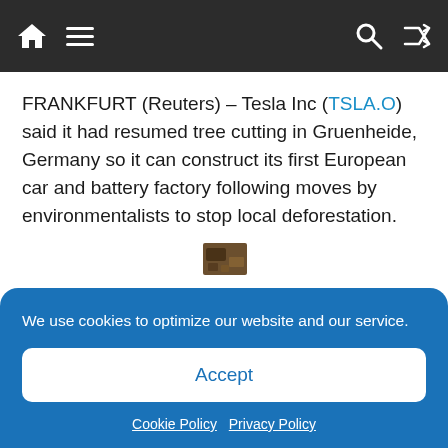[Navigation bar with home, menu, search, shuffle icons]
FRANKFURT (Reuters) – Tesla Inc (TSLA.O) said it had resumed tree cutting in Gruenheide, Germany so it can construct its first European car and battery factory following moves by environmentalists to stop local deforestation.
[Figure (photo): Small thumbnail image of a worker clearing trees in a forested area]
A worker clears trees at the area where U.S. electric vehicle pioneer Tesla plans to build a
We use cookies to optimize our website and our service.
Accept
Cookie Policy   Privacy Policy